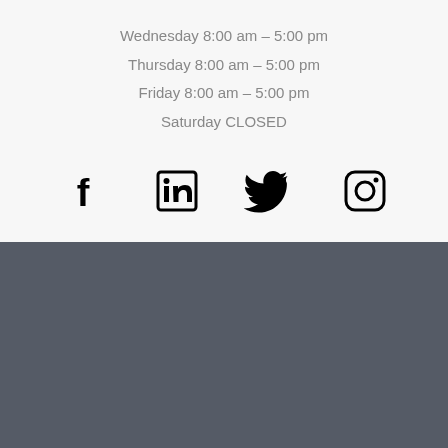Wednesday 8:00 am – 5:00 pm
Thursday 8:00 am – 5:00 pm
Friday 8:00 am – 5:00 pm
Saturday CLOSED
[Figure (other): Social media icons row: Facebook, LinkedIn, Twitter, Instagram]
[Figure (other): Dark gray footer background section]